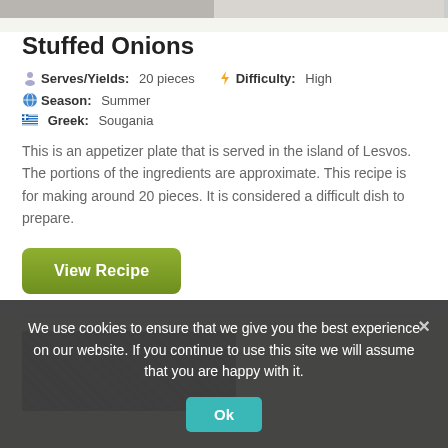[Figure (photo): Partial top strip of a food photo, cropped at top of page]
Stuffed Onions
Serves/Yields: 20 pieces  Difficulty: High  Season: Summer  Greek: Sougania
This is an appetizer plate that is served in the island of Lesvos. The portions of the ingredients are approximate. This recipe is for making around 20 pieces. It is considered a difficult dish to prepare.
View Recipe
[Figure (photo): Partial bottom food photo, mostly obscured by cookie banner]
We use cookies to ensure that we give you the best experience on our website. If you continue to use this site we will assume that you are happy with it.
Ok